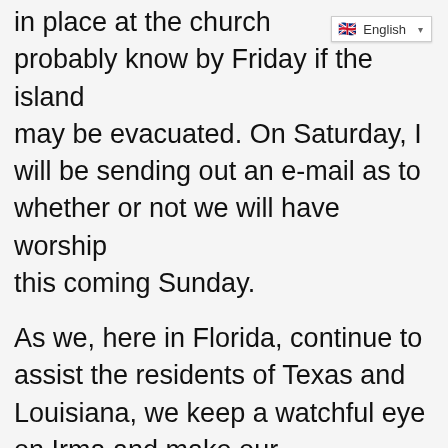[Figure (screenshot): Language selector widget showing UK flag and 'English' text with dropdown arrow]
in place at the church probably know by Friday if the island may be evacuated. On Saturday, I will be sending out an e-mail as to whether or not we will have worship this coming Sunday.

As we, here in Florida, continue to assist the residents of Texas and Louisiana, we keep a watchful eye on Irma and make our preparations. Thank you for your tremendous response to Hurricane Harvey assistance. Most of the 50 buckets were taken Sunday to be filled and many Health Kits were taken as well. Many more of you made a donation to disaster relief. What a loving and